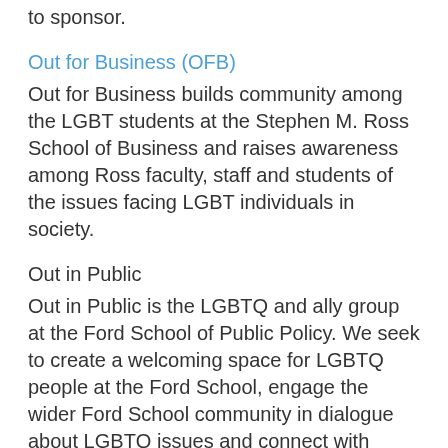to sponsor.
Out for Business (OFB)
Out for Business builds community among the LGBT students at the Stephen M. Ross School of Business and raises awareness among Ross faculty, staff and students of the issues facing LGBT individuals in society.
Out in Public
Out in Public is the LGBTQ and ally group at the Ford School of Public Policy. We seek to create a welcoming space for LGBTQ people at the Ford School, engage the wider Ford School community in dialogue about LGBTQ issues and connect with other LGBTQ groups across campus. Bachelors students, Masters students, PhD students, faculty and staff are all welcome.
OutLaws
Our Mission: to add the voices of lesbian, gay,